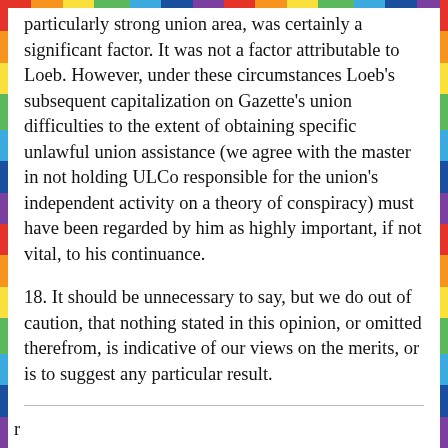particularly strong union area, was certainly a significant factor. It was not a factor attributable to Loeb. However, under these circumstances Loeb's subsequent capitalization on Gazette's union difficulties to the extent of obtaining specific unlawful union assistance (we agree with the master in not holding ULCo responsible for the union's independent activity on a theory of conspiracy) must have been regarded by him as highly important, if not vital, to his continuance.
18. It should be unnecessary to say, but we do out of caution, that nothing stated in this opinion, or omitted therefrom, is indicative of our views on the merits, or is to suggest any particular result.